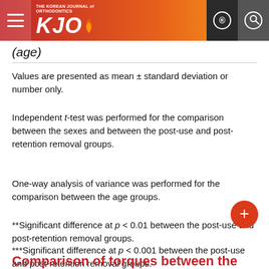KJO - The Korean Journal of Orthodontics
(age)
Values are presented as mean ± standard deviation or number only.
Independent t-test was performed for the comparison between the sexes and between the post-use and post-retention removal groups.
One-way analysis of variance was performed for the comparison between the age groups.
**Significant difference at p < 0.01 between the post-use and post-retention removal groups.
***Significant difference at p < 0.001 between the post-use and post-retention removal groups.
Comparison of torques between the